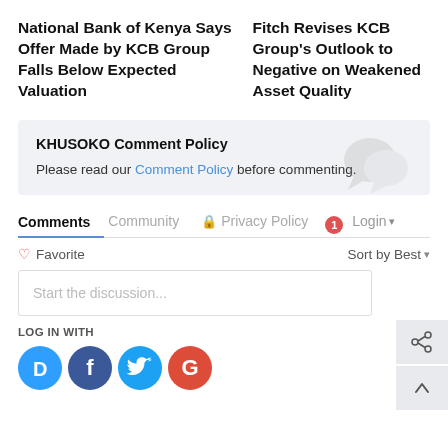National Bank of Kenya Says Offer Made by KCB Group Falls Below Expected Valuation
Fitch Revises KCB Group’s Outlook to Negative on Weakened Asset Quality
KHUSOKO Comment Policy
Please read our Comment Policy before commenting.
Comments  Community  🔒 Privacy Policy  1  Login ▾
♥ Favorite    Sort by Best ▾
Start the discussion...
LOG IN WITH
[Figure (other): Social login icons: Disqus (D), Facebook (f), Twitter bird, Google (G)]